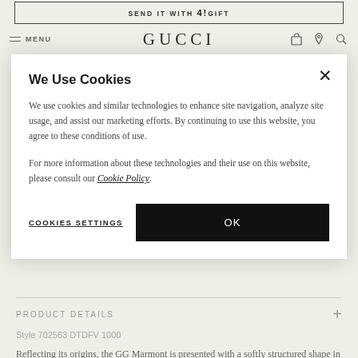SEND IT WITH 4!GIFT
GUCCI
We Use Cookies
We use cookies and similar technologies to enhance site navigation, analyze site usage, and assist our marketing efforts. By continuing to use this website, you agree to these conditions of use.
For more information about these technologies and their use on this website, please consult our Cookie Policy.
COOKIES SETTINGS
OK
PRODUCT DETAILS
Style 702563 DTDFV 1000
Reflecting its origins, the GG Marmont is presented with a softly structured shape in black matelassé leather. The Gucci Love Parade collection features of leather details and more about to